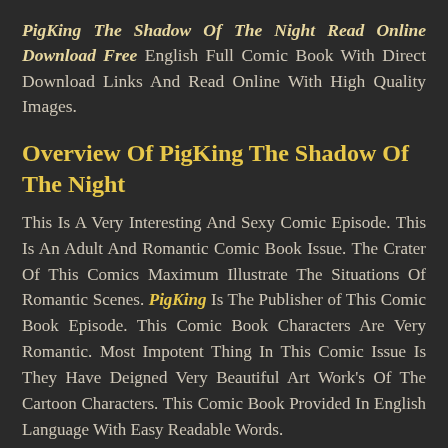PigKing The Shadow Of The Night Read Online Download Free English Full Comic Book With Direct Download Links And Read Online With High Quality Images.
Overview Of PigKing The Shadow Of The Night
This Is A Very Interesting And Sexy Comic Episode. This Is An Adult And Romantic Comic Book Issue. The Crater Of This Comics Maximum Illustrate The Situations Of Romantic Scenes. PigKing Is The Publisher of This Comic Book Episode. This Comic Book Characters Are Very Romantic. Most Impotent Thing In This Comic Issue Is They Have Deigned Very Beautiful Art Work's Of The Cartoon Characters. This Comic Book Provided In English Language With Easy Readable Words.